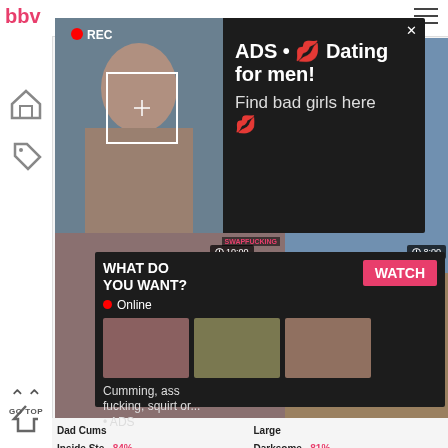bbw
[Figure (screenshot): Adult video website screenshot with popup ads. Top popup ad shows a woman taking a selfie with REC badge and text 'ADS • Dating for men! Find bad girls here'. Bottom popup shows 'WHAT DO YOU WANT?' with WATCH button, Online indicator, thumbnail images, and text 'Cumming, ass fucking, squirt or... • ADS'. Background shows video thumbnails with timers (10:00, 8:00, 8:00, 6:52) and percentage ratings (56%, 84%, 81%).]
WHAT DO YOU WANT?
WATCH
Online
Cumming, ass fucking, squirt or...
• ADS
ADS • 💋 Dating for men!
Find bad girls here 💋
Dad Cums Inside Ste... 84%
Large Darksome... 81%
GO TOP